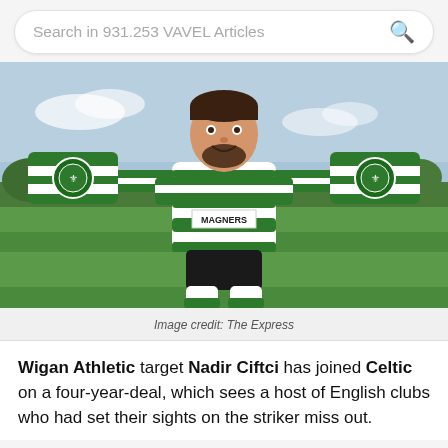Search in 931.253 VAVEL Articles
[Figure (photo): A footballer wearing a green and white hooped Celtic FC kit holding up a Celtic scarf with both arms outstretched, posing on a green football pitch with trees in background.]
Image credit: The Express
Wigan Athletic target Nadir Ciftci has joined Celtic on a four-year-deal, which sees a host of English clubs who had set their sights on the striker miss out.